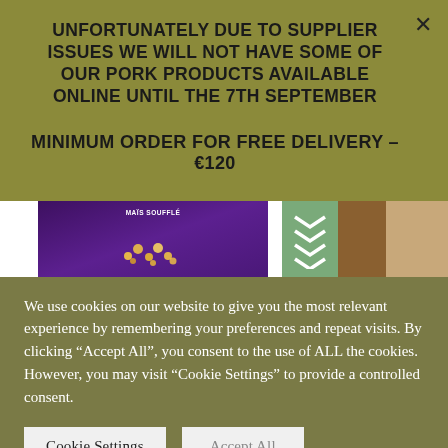UNFORTUNATELY DUE TO SUPPLIER ISSUES WE WILL NOT HAVE SOME OF OUR PORK PRODUCTS AVAILABLE ONLINE UNTIL THE 7TH SEPTEMBER
MINIMUM ORDER FOR FREE DELIVERY – €120
[Figure (photo): Product strip showing a purple popcorn bag labeled MAIS SOUFFLÉ on left, and green chevron pattern packaging with brown/tan products on right]
We use cookies on our website to give you the most relevant experience by remembering your preferences and repeat visits. By clicking "Accept All", you consent to the use of ALL the cookies. However, you may visit "Cookie Settings" to provide a controlled consent.